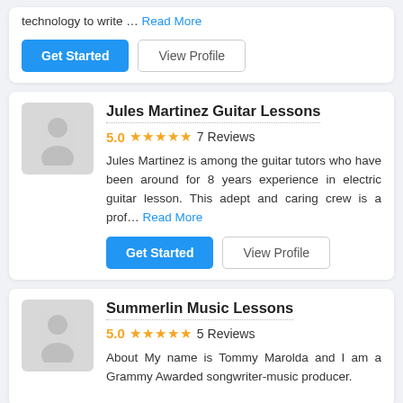technology to write … Read More
Get Started | View Profile
Jules Martinez Guitar Lessons
5.0 ★★★★★ 7 Reviews
Jules Martinez is among the guitar tutors who have been around for 8 years experience in electric guitar lesson. This adept and caring crew is a prof... Read More
Get Started | View Profile
Summerlin Music Lessons
5.0 ★★★★★ 5 Reviews
About My name is Tommy Marolda and I am a Grammy Awarded songwriter-music producer.